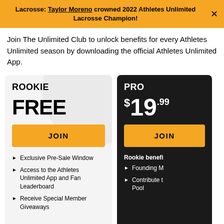Lacrosse: Taylor Moreno crowned 2022 Athletes Unlimited Lacrosse Champion!
Join The Unlimited Club to unlock benefits for every Athletes Unlimited season by downloading the official Athletes Unlimited App.
ROOKIE
FREE
JOIN
• Exclusive Pre-Sale Window
• Access to the Athletes Unlimited App and Fan Leaderboard
• Receive Special Member Giveaways
PRO
$19.99
Rookie benefits +
• Founding M...
• Contribute to Pool...